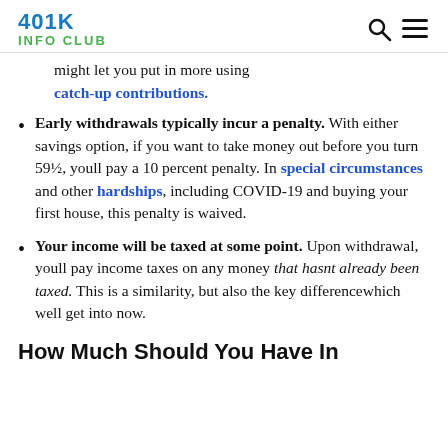401K INFO CLUB
might let you put in more using catch-up contributions.
Early withdrawals typically incur a penalty. With either savings option, if you want to take money out before you turn 59½, youll pay a 10 percent penalty. In special circumstances and other hardships, including COVID-19 and buying your first house, this penalty is waived.
Your income will be taxed at some point. Upon withdrawal, youll pay income taxes on any money that hasnt already been taxed. This is a similarity, but also the key differencewhich well get into now.
How Much Should You Have In